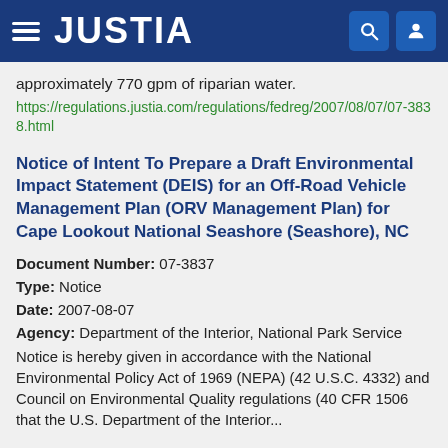JUSTIA
approximately 770 gpm of riparian water.
https://regulations.justia.com/regulations/fedreg/2007/08/07/07-3838.html
Notice of Intent To Prepare a Draft Environmental Impact Statement (DEIS) for an Off-Road Vehicle Management Plan (ORV Management Plan) for Cape Lookout National Seashore (Seashore), NC
Document Number: 07-3837
Type: Notice
Date: 2007-08-07
Agency: Department of the Interior, National Park Service
Notice is hereby given in accordance with the National Environmental Policy Act of 1969 (NEPA) (42 U.S.C. 4332) and Council on Environmental Quality regulations (40 CFR 1506 that the U.S. Department of the Interior...